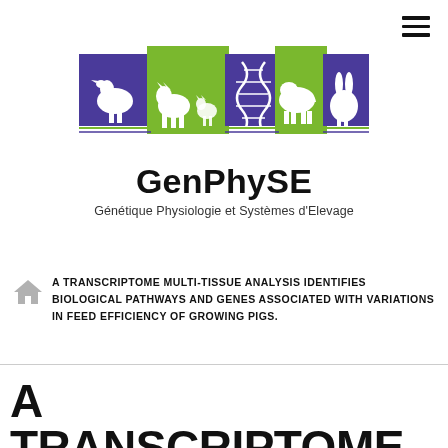[Figure (logo): GenPhySE logo with five colored panels showing animal silhouettes (goose, dog, DNA helix, pig, rabbit) in purple and green]
GenPhySE
Génétique Physiologie et Systèmes d'Elevage
A TRANSCRIPTOME MULTI-TISSUE ANALYSIS IDENTIFIES BIOLOGICAL PATHWAYS AND GENES ASSOCIATED WITH VARIATIONS IN FEED EFFICIENCY OF GROWING PIGS.
A TRANSCRIPTOME